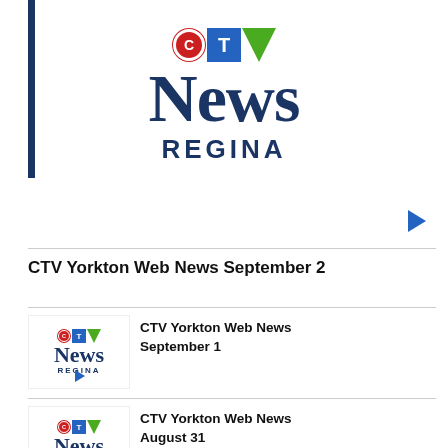[Figure (logo): CTV News Regina logo with red C circle, blue T box, green downward triangle, large NEWS text in dark navy, REGINA in spaced caps below]
CTV Yorkton Web News September 2
[Figure (logo): Small CTV News Regina thumbnail logo with play button]
CTV Yorkton Web News September 1
[Figure (logo): Small CTV News Regina thumbnail logo]
CTV Yorkton Web News August 31